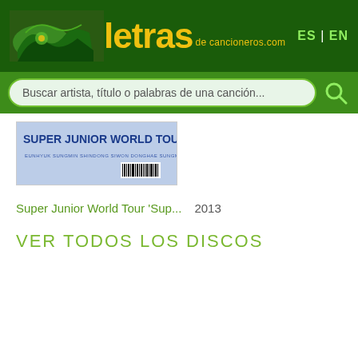letras de cancioneros.com | ES | EN
Buscar artista, título o palabras de una canción...
[Figure (photo): Super Junior World Tour album cover thumbnail showing 'SUPER JUNIOR WORLD TOUR' text on a light blue/white background with barcode]
Super Junior World Tour 'Sup...  2013
Ver todos los discos